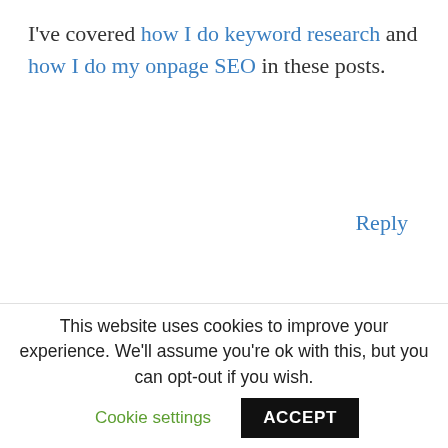I've covered how I do keyword research and how I do my onpage SEO in these posts.
Reply
[Figure (illustration): Generic user avatar icon - gray silhouette of a person]
WILLIAM
SEPTEMBER 13, 2020 AT 8:49 PM
This website uses cookies to improve your experience. We'll assume you're ok with this, but you can opt-out if you wish.
Cookie settings
ACCEPT